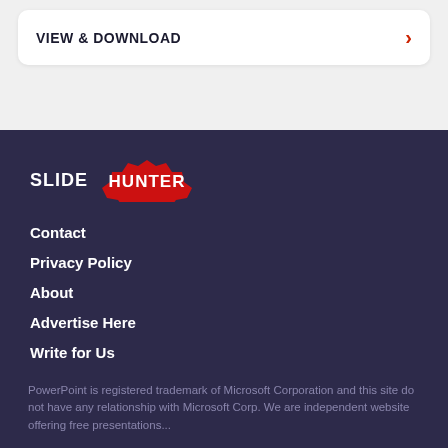VIEW & DOWNLOAD
[Figure (logo): SlideHunter logo with SLIDE in white text and HUNTER in white text on a red star/badge shape]
Contact
Privacy Policy
About
Advertise Here
Write for Us
PowerPoint is registered trademark of Microsoft Corporation and this site do not have any relationship with Microsoft Corp. We are independent website offering free presentations...